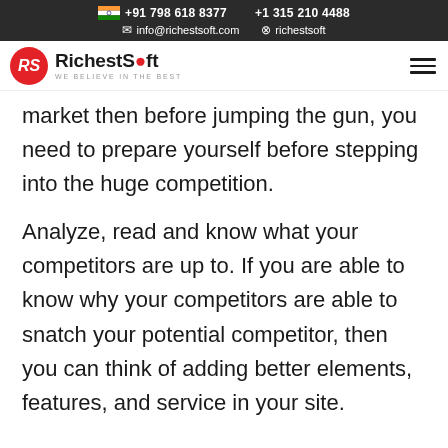+91 798 618 8377   +1 315 210 4488   info@richestsoft.com   richestsoft
RichestSoft WE BELIEVE IN THE BEST
market then before jumping the gun, you need to prepare yourself before stepping into the huge competition.
Analyze, read and know what your competitors are up to. If you are able to know why your competitors are able to snatch your potential competitor, then you can think of adding better elements, features, and service in your site.